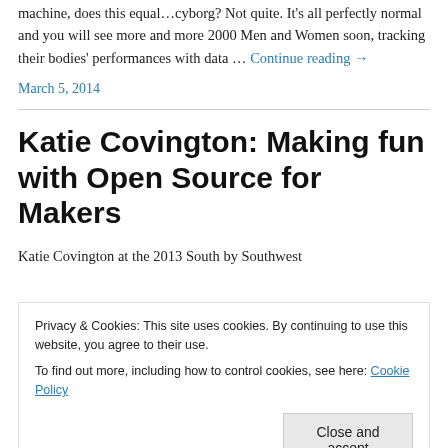machine, does this equal…cyborg? Not quite. It's all perfectly normal and you will see more and more 2000 Men and Women soon, tracking their bodies' performances with data … Continue reading →
March 5, 2014
Katie Covington: Making fun with Open Source for Makers
Katie Covington at the 2013 South by Southwest
Privacy & Cookies: This site uses cookies. By continuing to use this website, you agree to their use.
To find out more, including how to control cookies, see here: Cookie Policy
Close and accept
gave designs away for free. She explained in Continue